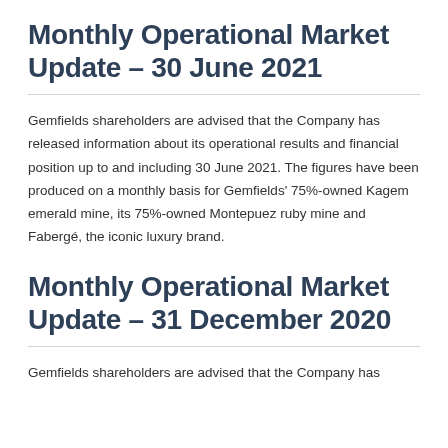Monthly Operational Market Update – 30 June 2021
Gemfields shareholders are advised that the Company has released information about its operational results and financial position up to and including 30 June 2021. The figures have been produced on a monthly basis for Gemfields' 75%-owned Kagem emerald mine, its 75%-owned Montepuez ruby mine and Fabergé, the iconic luxury brand.
Monthly Operational Market Update – 31 December 2020
Gemfields shareholders are advised that the Company has